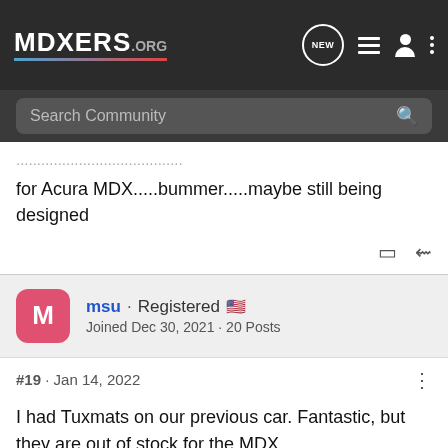MDXERS.ORG
Search Community
for Acura MDX.....bummer.....maybe still being designed
msu · Registered
Joined Dec 30, 2021 · 20 Posts
#19 · Jan 14, 2022
I had Tuxmats on our previous car. Fantastic, but they are out of stock for the MDX.
I got the ... Ms, but very mu ... y. But I did not ...
[Figure (screenshot): Nitto tire advertisement banner: ALL-NEW NOMAD GRAPPLER CROSSOVER-TERRAIN TIRE with tire image on right]